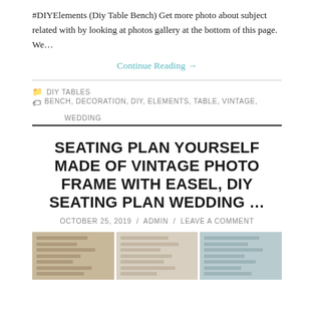#DIYElements (Diy Table Bench) Get more photo about subject related with by looking at photos gallery at the bottom of this page. We…
Continue Reading →
DIY TABLES   BENCH, DECORATION, DIY, ELEMENTS, TABLE, VINTAGE, WEDDING
SEATING PLAN YOURSELF MADE OF VINTAGE PHOTO FRAME WITH EASEL, DIY SEATING PLAN WEDDING …
OCTOBER 25, 2019 / ADMIN / LEAVE A COMMENT
[Figure (photo): Three photos of seating plan boards made from vintage photo frames with handwritten table assignments]